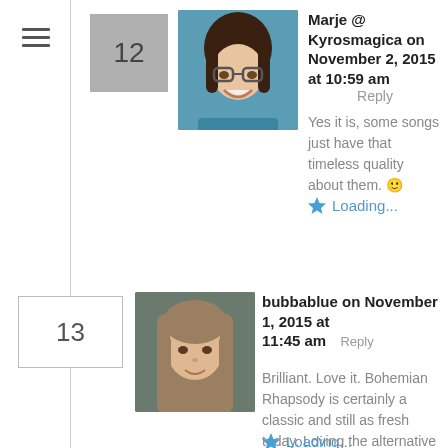[Figure (screenshot): Blog comment section showing comment #12 by Marje @ Kyrosmagica on November 2, 2015 at 10:59 am, and comment #13 by bubbablue on November 1, 2015 at 11:45 am]
Marje @ Kyrosmagica on November 2, 2015 at 10:59 am
Reply
Yes it is, some songs just have that timeless quality about them. 🙂
Loading...
bubbablue on November 1, 2015 at 11:45 am
Reply
Brilliant. Love it. Bohemian Rhapsody is certainly a classic and still as fresh today. Loving the alternative parenting version.
Loading...